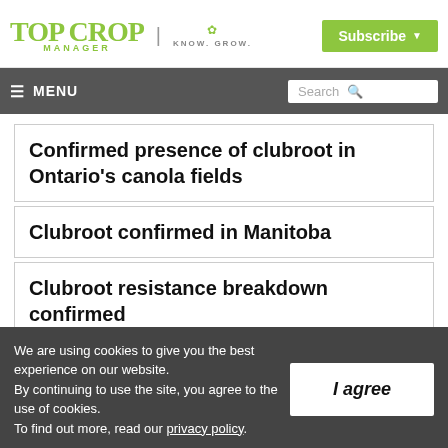Top Crop Manager | Know. Grow. | Subscribe
≡ MENU | Search
Confirmed presence of clubroot in Ontario's canola fields
Clubroot confirmed in Manitoba
Clubroot resistance breakdown confirmed
We are using cookies to give you the best experience on our website. By continuing to use the site, you agree to the use of cookies. To find out more, read our privacy policy.